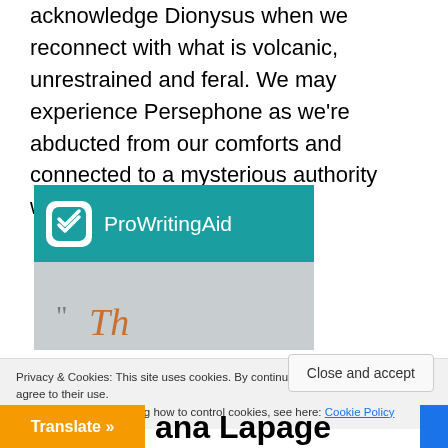acknowledge Dionysus when we reconnect with what is volcanic, unrestrained and feral. We may experience Persephone as we’re abducted from our comforts and connected to a mysterious authority within.
[Figure (logo): ProWritingAid advertisement banner with teal background, white rounded-square icon with overlapping checkmark/layers symbol, and white text 'ProWritingAid'. Below is a gray section showing a quotation mark and the start of italic orange script text.]
Privacy & Cookies: This site uses cookies. By continuing to use this website, you agree to their use.
To find out more, including how to control cookies, see here: Cookie Policy
Close and accept
Translate »
ana Lapage